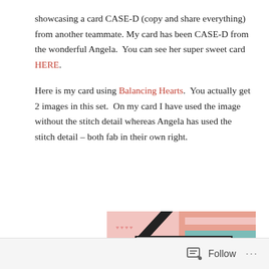showcasing a card CASE-D (copy and share everything) from another teammate. My card has been CASE-D from the wonderful Angela.  You can see her super sweet card HERE.
Here is my card using Balancing Hearts.  You actually get 2 images in this set.  On my card I have used the image without the stitch detail whereas Angela has used the stitch detail – both fab in their own right.
[Figure (photo): A handmade greeting card showing a cute teal bird stamped on white cardstock, layered over patterned paper with pink hearts and coral/teal stripes, with a black diagonal ribbon accent and a pink dotted border.]
Follow ···